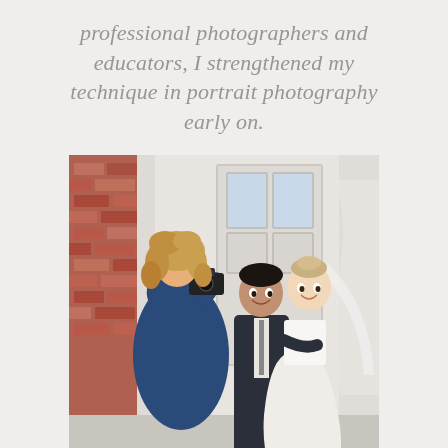professional photographers and educators, I strengthened my technique in portrait photography early on.
[Figure (photo): A photographer with curly blonde hair wearing a blue outfit photographs a smiling couple (groom in dark suit, bride in white strapless dress) standing in front of a white door with brick walls on either side.]